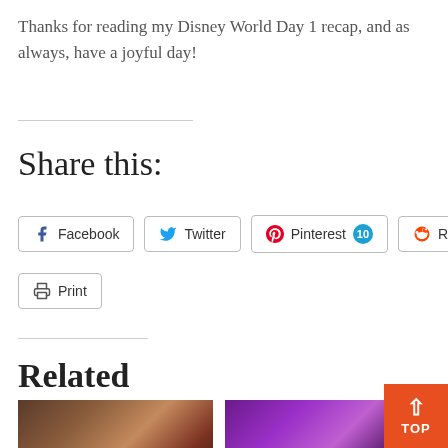Thanks for reading my Disney World Day 1 recap, and as always, have a joyful day!
Share this:
Facebook
Twitter
Pinterest 10
Reddit
Print
Related
[Figure (photo): Photo of a group with Mickey Mouse characters at Disney World]
[Figure (photo): Photo with Disney Princess Half Marathon signage, person wearing Mickey ears]